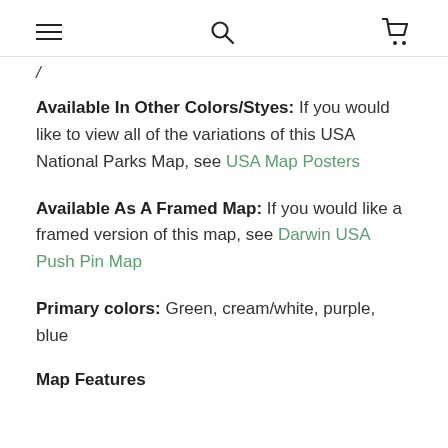≡  🔍  🛒
Available In Other Colors/Styes:  If you would like to view all of the variations of this USA National Parks Map, see USA Map Posters
Available As A Framed Map:  If you would like a framed version of this map, see Darwin USA Push Pin Map
Primary colors:  Green, cream/white, purple, blue
Map Features